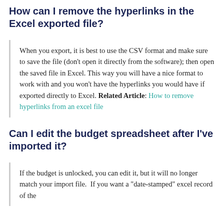How can I remove the hyperlinks in the Excel exported file?
When you export, it is best to use the CSV format and make sure to save the file (don't open it directly from the software); then open the saved file in Excel. This way you will have a nice format to work with and you won't have the hyperlinks you would have if exported directly to Excel. Related Article: How to remove hyperlinks from an excel file
Can I edit the budget spreadsheet after I've imported it?
If the budget is unlocked, you can edit it, but it will no longer match your import file.  If you want a "date-stamped" excel record of the